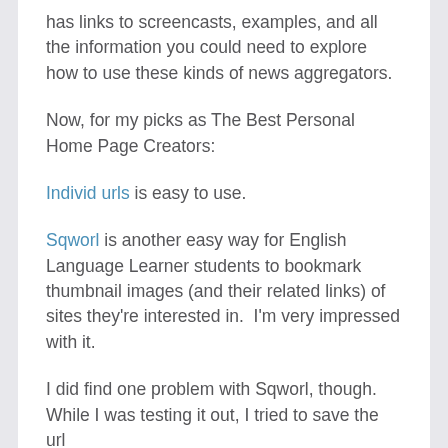has links to screencasts, examples, and all the information you could need to explore how to use these kinds of news aggregators.
Now, for my picks as The Best Personal Home Page Creators:
Individ urls is easy to use.
Sqworl is another easy way for English Language Learner students to bookmark thumbnail images (and their related links) of sites they're interested in.  I'm very impressed with it.
I did find one problem with Sqworl, though. While I was testing it out, I tried to save the url